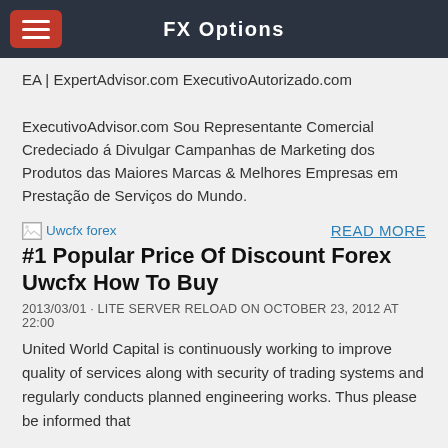FX Options
EA | ExpertAdvisor.com ExecutivoAutorizado.com

ExecutivoAdvisor.com Sou Representante Comercial Credeciado á Divulgar Campanhas de Marketing dos Produtos das Maiores Marcas & Melhores Empresas em Prestação de Serviços do Mundo.
[Figure (illustration): Broken image icon with label 'Uwcfx forex']
READ MORE
#1 Popular Price Of Discount Forex Uwcfx How To Buy
2013/03/01 · LITE SERVER RELOAD ON OCTOBER 23, 2012 AT 22:00
United World Capital is continuously working to improve quality of services along with security of trading systems and regularly conducts planned engineering works. Thus please be informed that …